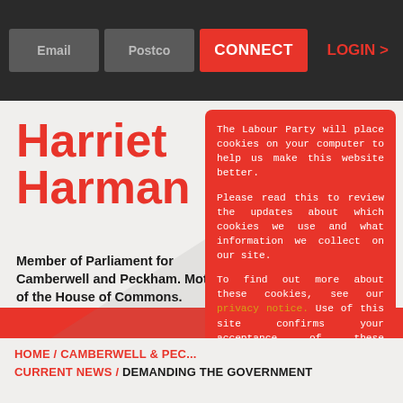Email  Postco  CONNECT  LOGIN >
Harriet Harman
Member of Parliament for Camberwell and Peckham. Mot of the House of Commons.
The Labour Party will place cookies on your computer to help us make this website better.

Please read this to review the updates about which cookies we use and what information we collect on our site.

To find out more about these cookies, see our privacy notice. Use of this site confirms your acceptance of these cookies.
HOME / CAMBERWELL & PEC... / CURRENT NEWS / DEMANDING THE GOVERNMENT